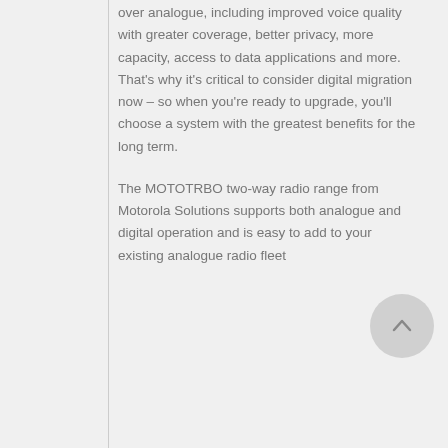over analogue, including improved voice quality with greater coverage, better privacy, more capacity, access to data applications and more. That's why it's critical to consider digital migration now – so when you're ready to upgrade, you'll choose a system with the greatest benefits for the long term.
The MOTOTRBO two-way radio range from Motorola Solutions supports both analogue and digital operation and is easy to add to your existing analogue radio fleet